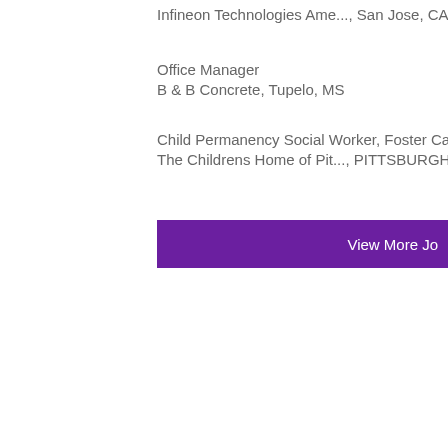Infineon Technologies Ame..., San Jose, CA
Office Manager
B & B Concrete, Tupelo, MS
Child Permanency Social Worker, Foster Care
The Childrens Home of Pit..., PITTSBURGH, P
View More Jo